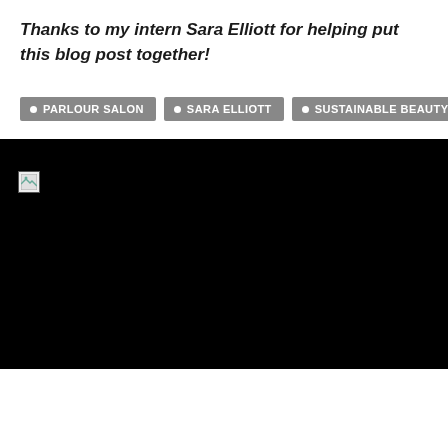Thanks to my intern Sara Elliott for helping put this blog post together!
PARLOUR SALON
SARA ELLIOTT
SUSTAINABLE BEAUTY DAY
[Figure (photo): Black rectangle with a broken image icon in the upper left corner, indicating a missing/unloaded image.]